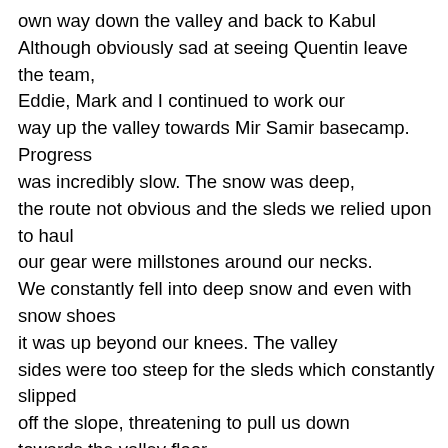own way down the valley and back to Kabul Although obviously sad at seeing Quentin leave the team, Eddie, Mark and I continued to work our way up the valley towards Mir Samir basecamp. Progress was incredibly slow. The snow was deep, the route not obvious and the sleds we relied upon to haul our gear were millstones around our necks. We constantly fell into deep snow and even with snow shoes it was up beyond our knees. The valley sides were too steep for the sleds which constantly slipped off the slope, threatening to pull us down towards the valley floor. After four days of this torment, we lowered ourselves down into the valley. We thought the Samir River would be frozen and that we could follow its course, which would offer better terrain for hauling our sleds. This worked for a time and we made some progress but later in the day, the ice thawed and we found ourselves breaking through the ice. The floor of the valley was a classic terrain trap with evidence of recent avalanches sweeping down. We proceeded with caution, switching on our